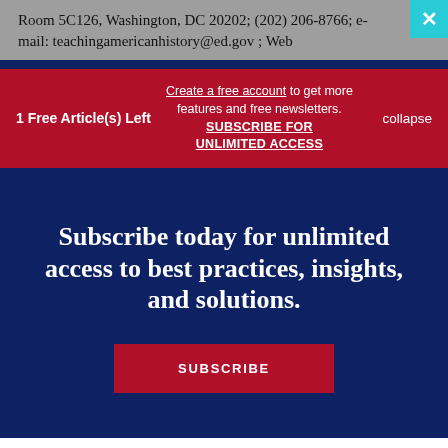Room 5C126, Washington, DC 20202; (202) 206-8766; e-mail: teachingamericanhistory@ed.gov ; Web
1 Free Article(s) Left
Create a free account to get more features and free newsletters. SUBSCRIBE FOR UNLIMITED ACCESS
collapse
Subscribe today for unlimited access to best practices, insights, and solutions.
SUBSCRIBE